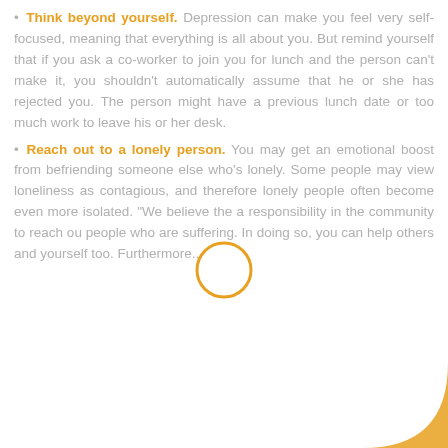Think beyond yourself. Depression can make you feel very self-focused, meaning that everything is all about you. But remind yourself that if you ask a co-worker to join you for lunch and the person can't make it, you shouldn't automatically assume that he or she has rejected you. The person might have a previous lunch date or too much work to leave his or her desk.
Reach out to a lonely person. You may get an emotional boost from befriending someone else who's lonely. Some people may view loneliness as contagious, and therefore lonely people often become even more isolated. "We believe the a responsibility in the community to reach ou people who are suffering. In doing so, you can help others and yourself too. Furthermore...